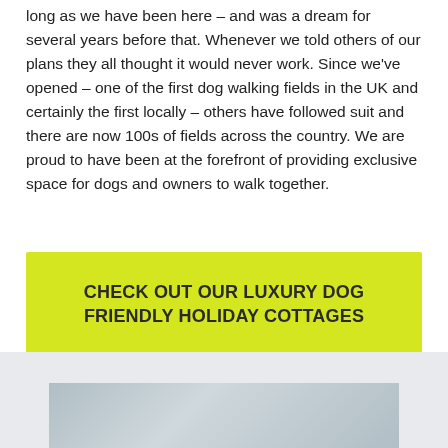long as we have been here – and was a dream for several years before that. Whenever we told others of our plans they all thought it would never work. Since we've opened – one of the first dog walking fields in the UK and certainly the first locally – others have followed suit and there are now 100s of fields across the country. We are proud to have been at the forefront of providing exclusive space for dogs and owners to walk together.
CHECK OUT OUR LUXURY DOG FRIENDLY HOLIDAY COTTAGES
[Figure (photo): Partial view of a photo at the bottom of the page, appears to be an outdoor landscape image with grey/blue tones]